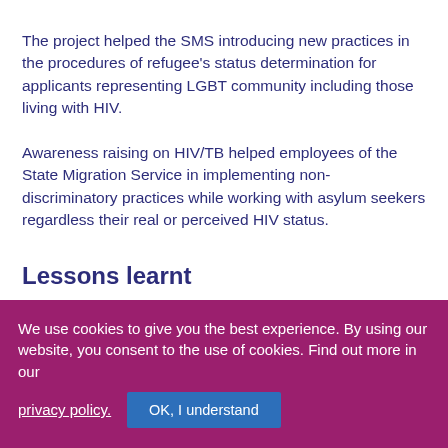The project helped the SMS introducing new practices in the procedures of refugee's status determination for applicants representing LGBT community including those living with HIV.
Awareness raising on HIV/TB helped employees of the State Migration Service in implementing non-discriminatory practices while working with asylum seekers regardless their real or perceived HIV status.
Lessons learnt
We use cookies to give you the best experience. By using our website, you consent to the use of cookies. Find out more in our privacy policy. OK, I understand